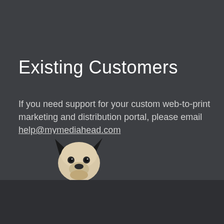Existing Customers
If you need support for your custom web-to-print marketing and distribution portal, please email help@mymediahead.com
[Figure (photo): Photo of a white French Bulldog dog looking at the camera against a dark background]
Copyright © 2022 MEDiAHEAD, All Rights Reserved.
Home   About Us   Solutions   Our Work   W@RK Blog
Contact